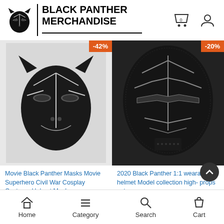[Figure (logo): Black Panther Merchandise logo with panther mask icon and text BLACK PANTHER MERCHANDISE]
[Figure (photo): Movie Black Panther mask product photo with -42% discount badge]
[Figure (photo): 2020 Black Panther 1:1 wearable helmet product photo with -20% discount badge]
Movie Black Panther Masks Movie Superhero Civil War Cosplay Costume Helmet Masks
2020 Black Panther 1:1 wearable helmet Model collection high- props set
Home  Category  Search  Cart